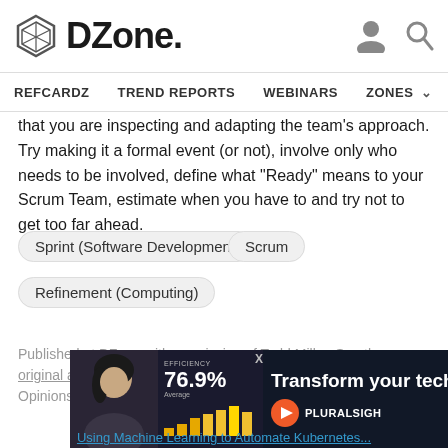DZone. REFCARDZ  TREND REPORTS  WEBINARS  ZONES
that you are inspecting and adapting the team's approach. Try making it a formal event (or not), involve only who needs to be involved, define what "Ready" means to your Scrum Team, estimate when you have to and try not to get too far ahead.
Sprint (Software Development)
Scrum
Refinement (Computing)
Published at DZone with permission of Todd Miller. See the original article here. Opinions expressed by DZone contributors are their own.
[Figure (screenshot): Pluralsight advertisement banner showing a woman, efficiency stats at 76.9%, and text 'Transform your techno...' with Pluralsight logo on dark background]